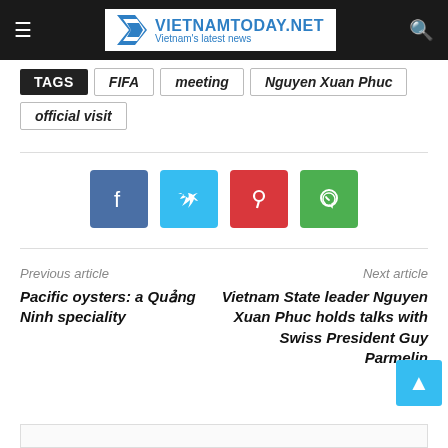VIETNAMTODAY.NET — Vietnam's latest news
TAGS  FIFA  meeting  Nguyen Xuan Phuc  official visit
[Figure (other): Social sharing buttons: Facebook, Twitter, Pinterest, WhatsApp]
Previous article
Pacific oysters: a Quảng Ninh speciality
Next article
Vietnam State leader Nguyen Xuan Phuc holds talks with Swiss President Guy Parmelin